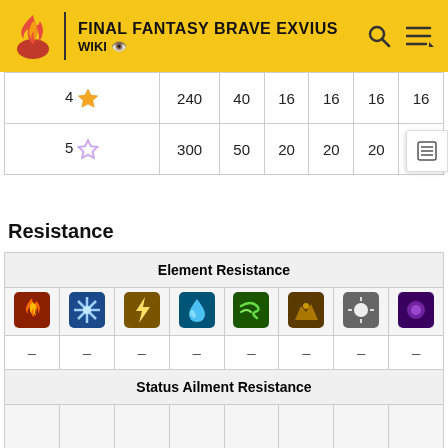FINAL FANTASY BRAVE EXVIUS WIKI
| Rarity | HP | MP | ATK | DEF | MAG | SPR |
| --- | --- | --- | --- | --- | --- | --- |
| 4★ | 240 | 40 | 16 | 16 | 16 | 16 |
| 5★ | 300 | 50 | 20 | 20 | 20 | 20 |
Resistance
| Element Resistance |
| --- |
| 🔥 | ❄️ | ⚡ | 💧 | 🌿 | 🌍 | ⬜ | 🌀 |
| – | – | – | – | – | – | – | – |
| Status Ailment Resistance |
|  |  |  |  |  |  |  |  |
| – | – | – | – | – | – | – | – |